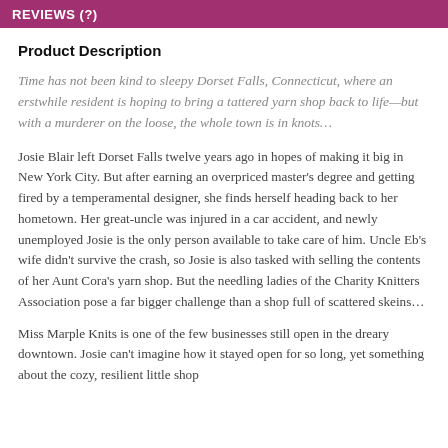REVIEWS (?)
Product Description
Time has not been kind to sleepy Dorset Falls, Connecticut, where an erstwhile resident is hoping to bring a tattered yarn shop back to life—but with a murderer on the loose, the whole town is in knots…
Josie Blair left Dorset Falls twelve years ago in hopes of making it big in New York City. But after earning an overpriced master's degree and getting fired by a temperamental designer, she finds herself heading back to her hometown. Her great-uncle was injured in a car accident, and newly unemployed Josie is the only person available to take care of him. Uncle Eb's wife didn't survive the crash, so Josie is also tasked with selling the contents of her Aunt Cora's yarn shop. But the needling ladies of the Charity Knitters Association pose a far bigger challenge than a shop full of scattered skeins…
Miss Marple Knits is one of the few businesses still open in the dreary downtown. Josie can't imagine how it stayed open for so long, yet something about the cozy, resilient little shop